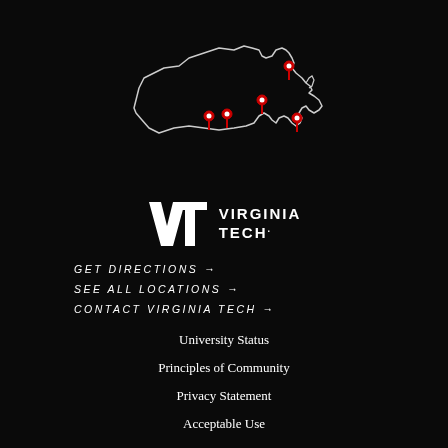[Figure (map): Outline map of Virginia state with 4 red location pin markers indicating Virginia Tech campus locations]
[Figure (logo): Virginia Tech logo with VT monogram and VIRGINIA TECH wordmark in white on black background]
GET DIRECTIONS →
SEE ALL LOCATIONS →
CONTACT VIRGINIA TECH →
University Status
Principles of Community
Privacy Statement
Acceptable Use